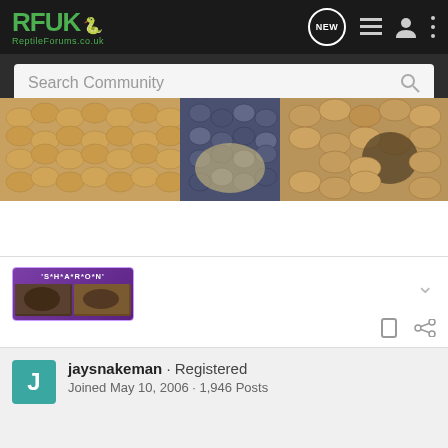[Figure (screenshot): RFUK Reptile Forums website navigation bar with green logo, NEW bubble icon, list icon, user icon, and more options icon on dark background]
[Figure (screenshot): Search Community search bar on dark grey background]
[Figure (photo): Close-up photo of a ball python snake showing detailed scale patterns in gold, brown and black colours on a rock surface]
[Figure (photo): User post badge image showing 'S*H*A*R*O*N' text with photos of snakes on purple background]
jaysnakeman · Registered
Joined May 10, 2006 · 1,946 Posts